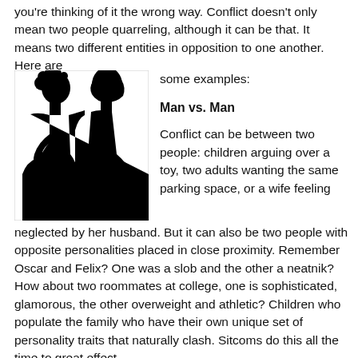you're thinking of it the wrong way. Conflict doesn't only mean two people quarreling, although it can be that. It means two different entities in opposition to one another. Here are some examples:
[Figure (illustration): Black and white silhouette of two people facing each other in confrontation, one appears to be a woman with curly hair and the other a man, both in profile facing each other closely.]
Man vs. Man
Conflict can be between two people: children arguing over a toy, two adults wanting the same parking space, or a wife feeling neglected by her husband. But it can also be two people with opposite personalities placed in close proximity. Remember Oscar and Felix? One was a slob and the other a neatnik? How about two roommates at college, one is sophisticated, glamorous, the other overweight and athletic? Children who populate the family who have their own unique set of personality traits that naturally clash. Sitcoms do this all the time to great effect.